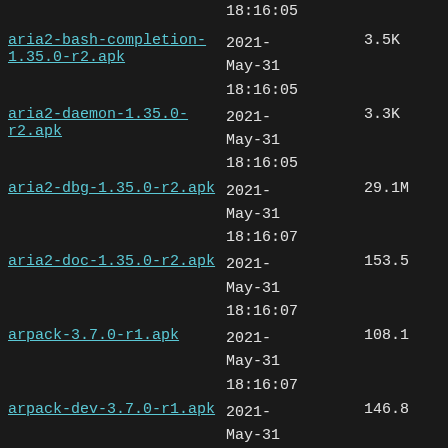| Name | Date | Size |
| --- | --- | --- |
| aria2-bash-completion-1.35.0-r2.apk | 2021-May-31 18:16:05 | 3.5K |
| aria2-daemon-1.35.0-r2.apk | 2021-May-31 18:16:05 | 3.3K |
| aria2-dbg-1.35.0-r2.apk | 2021-May-31 18:16:07 | 29.1M |
| aria2-doc-1.35.0-r2.apk | 2021-May-31 18:16:07 | 153.5[K/M] |
| arpack-3.7.0-r1.apk | 2021-May-31 18:16:07 | 108.1[K/M] |
| arpack-dev-3.7.0-r1.apk | 2021-May-31 18:16:07 | 146.8[K/M] |
| arpack-doc-3.7.0-r1.apk | 2021-May-31 18:16:07 | 8.8K |